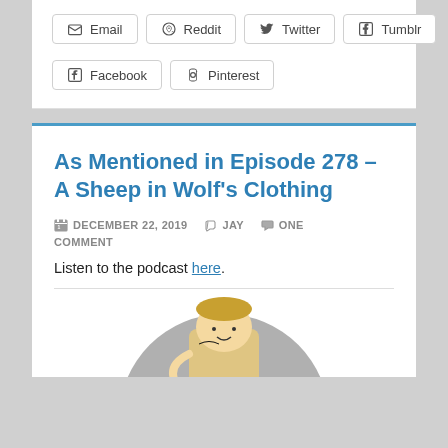Email
Reddit
Twitter
Tumblr
Facebook
Pinterest
As Mentioned in Episode 278 – A Sheep in Wolf's Clothing
DECEMBER 22, 2019   JAY   ONE COMMENT
Listen to the podcast here.
[Figure (illustration): Circular illustration showing a cartoon-style drawing of a person, partially visible, against a grey circular background]